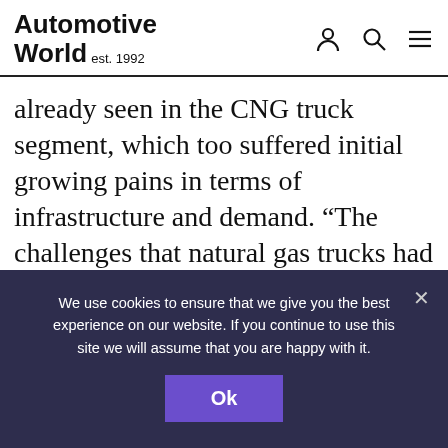Automotive World est. 1992
already seen in the CNG truck segment, which too suffered initial growing pains in terms of infrastructure and demand. “The challenges that natural gas trucks had with respect to changing the industry might be small compared to those for electric trucks hauling large weights, but the benefits might have fleet leaders jumping to this
We use cookies to ensure that we give you the best experience on our website. If you continue to use this site we will assume that you are happy with it.
Ok